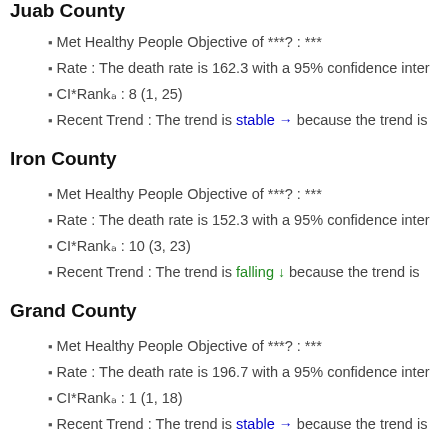Juab County
Met Healthy People Objective of ***?: ***
Rate : The death rate is 162.3 with a 95% confidence inter
CI*Rank⋕ : 8 (1, 25)
Recent Trend : The trend is stable → because the trend is
Iron County
Met Healthy People Objective of ***?: ***
Rate : The death rate is 152.3 with a 95% confidence inter
CI*Rank⋕ : 10 (3, 23)
Recent Trend : The trend is falling ↓ because the trend is
Grand County
Met Healthy People Objective of ***?: ***
Rate : The death rate is 196.7 with a 95% confidence inter
CI*Rank⋕ : 1 (1, 18)
Recent Trend : The trend is stable → because the trend is